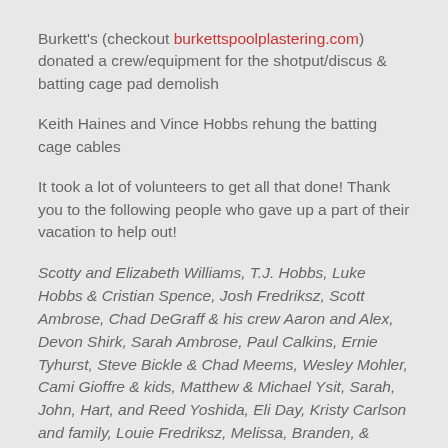Burkett's (checkout burkettspoolplastering.com) donated a crew/equipment for the shotput/discus & batting cage pad demolish
Keith Haines and Vince Hobbs rehung the batting cage cables
It took a lot of volunteers to get all that done! Thank you to the following people who gave up a part of their vacation to help out!
Scotty and Elizabeth Williams, T.J. Hobbs, Luke Hobbs & Cristian Spence, Josh Fredriksz, Scott Ambrose, Chad DeGraff & his crew Aaron and Alex, Devon Shirk, Sarah Ambrose, Paul Calkins, Ernie Tyhurst, Steve Bickle & Chad Meems, Wesley Mohler, Cami Gioffre & kids, Matthew & Michael Ysit, Sarah, John, Hart, and Reed Yoshida, Eli Day, Kristy Carlson and family, Louie Fredriksz, Melissa, Branden, & Malery States, Bert & Robert Lo